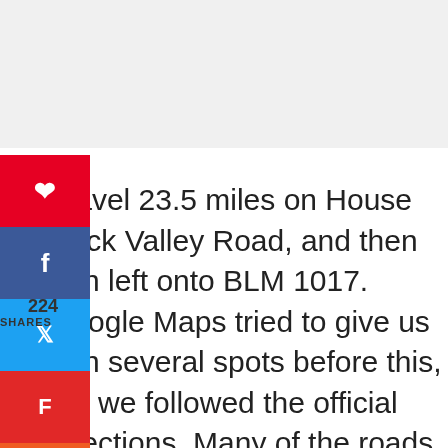224 SHARES
Travel 23.5 miles on House Rock Valley Road, and then turn left onto BLM 1017. Google Maps tried to give us turn several spots before this, but we followed the official directions. Many of the roads Google Maps said to turn on had signs that said, "not the route to White Pocket."

Once you get to BLM 1017, these roads will show on the map but without names. There are little signs on the side of the road that let you know which road it is. Use these signs to follow the rest of the route.